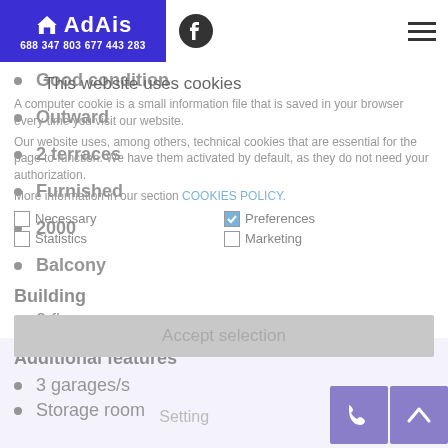AdAis | 688 347 803  677 443 283
Good condition
Outward
2 terraces
Furnished
2000
Balcony
Building
2 floors
Garden
Additional features
3 garages/s
Storage room